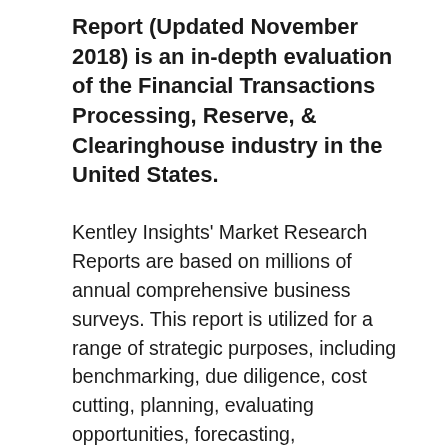Report (Updated November 2018) is an in-depth evaluation of the Financial Transactions Processing, Reserve, & Clearinghouse industry in the United States.
Kentley Insights' Market Research Reports are based on millions of annual comprehensive business surveys. This report is utilized for a range of strategic purposes, including benchmarking, due diligence, cost cutting, planning, evaluating opportunities, forecasting, streamlining, and gap analysis. This report is loaded with over 100 insightful data sets, such historical and forecasted industry sales, operating expense details, product line breakdown, financial ratios, benchmarks, wages, profitability, organizational analysis, revenue per employee, state statistics, price inflation,